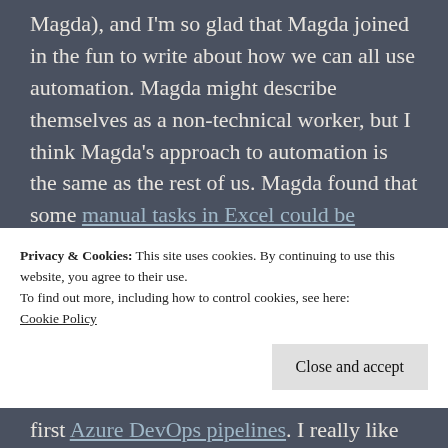Magda), and I'm so glad that Magda joined in the fun to write about how we can all use automation. Magda might describe themselves as a non-technical worker, but I think Magda's approach to automation is the same as the rest of us. Magda found that some manual tasks in Excel could be improved with automation. I'm also very glad that Magda reminds us all to celebrate the victories... and even a cup of tea with the time you've saved automating your work.
Privacy & Cookies: This site uses cookies. By continuing to use this website, you agree to their use.
To find out more, including how to control cookies, see here:
Cookie Policy
Close and accept
first Azure DevOps pipelines. I really like how